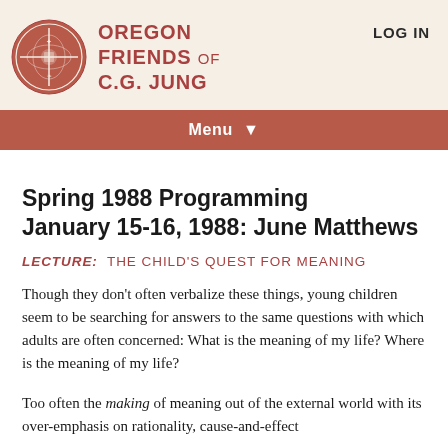OREGON FRIENDS OF C.G. JUNG  LOG IN
Menu
Spring 1988 Programming January 15-16, 1988: June Matthews
LECTURE:  THE CHILD'S QUEST FOR MEANING
Though they don't often verbalize these things, young children seem to be searching for answers to the same questions with which adults are often concerned: What is the meaning of my life? Where is the meaning of my life?
Too often the making of meaning out of the external world with its over-emphasis on rationality, cause-and-effect